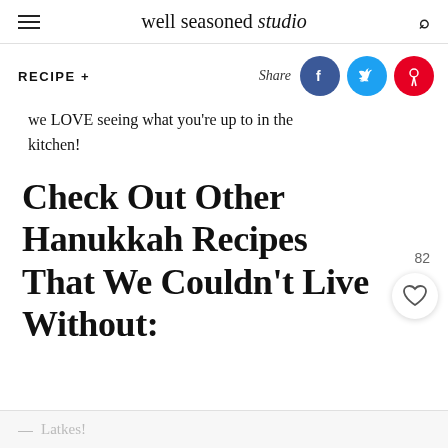well seasoned studio
RECIPE +
Share
we LOVE seeing what you're up to in the kitchen!
Check Out Other Hanukkah Recipes That We Couldn't Live Without:
82
— Latkes!